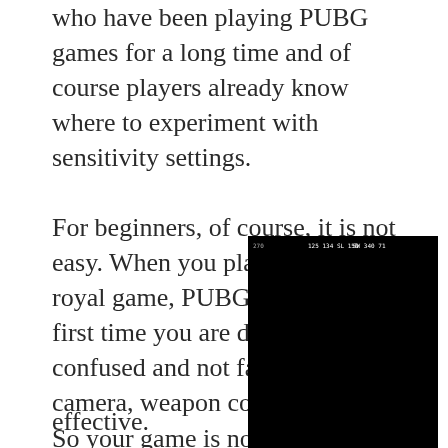who have been playing PUBG games for a long time and of course players already know where to experiment with sensitivity settings.
For beginners, of course, it is not easy. When you play the battle royal game, PUBG Mobile, for the first time you are definitely confused and not familiar with the camera, weapon control, and aim. So your game is not fully effective.
[Figure (screenshot): A PUBG Mobile game screenshot showing a sniper scope view with crosshairs aimed at buildings in a rural setting. An orange distance indicator showing '110M' is visible, along with another marker. The scope has a circular vignette effect.]